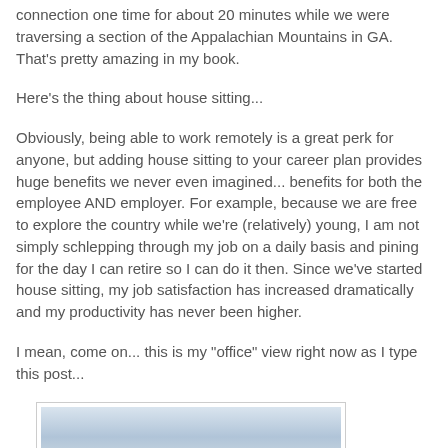connection one time for about 20 minutes while we were traversing a section of the Appalachian Mountains in GA. That's pretty amazing in my book.
Here's the thing about house sitting...
Obviously, being able to work remotely is a great perk for anyone, but adding house sitting to your career plan provides huge benefits we never even imagined... benefits for both the employee AND employer. For example, because we are free to explore the country while we're (relatively) young, I am not simply schlepping through my job on a daily basis and pining for the day I can retire so I can do it then. Since we've started house sitting, my job satisfaction has increased dramatically and my productivity has never been higher.
I mean, come on... this is my "office" view right now as I type this post...
[Figure (photo): A scenic outdoor view with sky and layered landscape, serving as the author's office view while house sitting.]